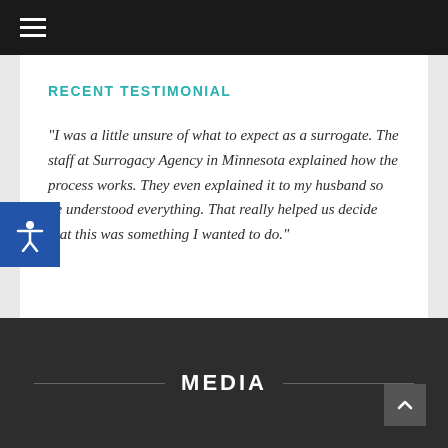≡
RECENT TESTIMONIAL
"I was a little unsure of what to expect as a surrogate. The staff at Surrogacy Agency in Minnesota explained how the process works. They even explained it to my husband so he understood everything. That really helped us decide that this was something I wanted to do."
MEDIA